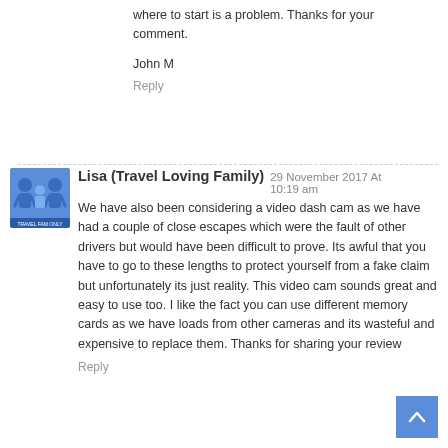where to start is a problem. Thanks for your comment.
John M
Reply
[Figure (illustration): Avatar image for Lisa (Travel Loving Family) - cartoon figures of a family]
Lisa (Travel Loving Family) 29 November 2017 At 10:19 am
We have also been considering a video dash cam as we have had a couple of close escapes which were the fault of other drivers but would have been difficult to prove. Its awful that you have to go to these lengths to protect yourself from a fake claim but unfortunately its just reality. This video cam sounds great and easy to use too. I like the fact you can use different memory cards as we have loads from other cameras and its wasteful and expensive to replace them. Thanks for sharing your review
Reply